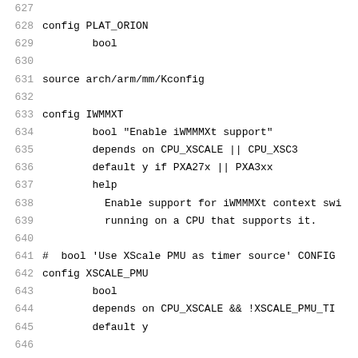Code listing lines 627-648 of a Kconfig file for ARM architecture